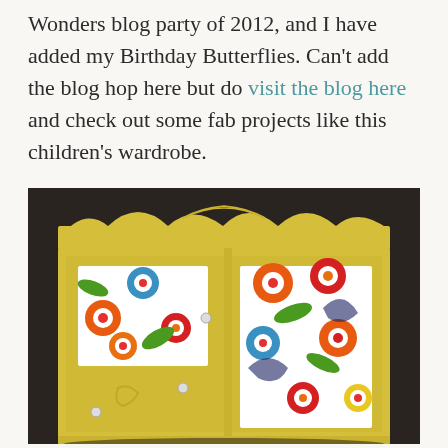Wonders blog party of 2012, and I have added my Birthday Butterflies. Can't add the blog hop here but do visit the blog here and check out some fab projects like this children's wardrobe.
[Figure (photo): A yellow painted children's wardrobe with colorful floral fabric panels on its doors, featuring bright orange, red, blue, and green flowers on a white background, set against a dark background.]